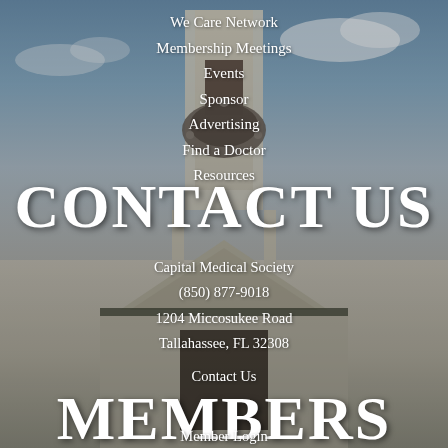[Figure (photo): Background photo of a white government/church building with a steeple and dome, blue sky with clouds, dark semi-transparent overlay]
We Care Network
Membership Meetings
Events
Sponsor
Advertising
Find a Doctor
Resources
CONTACT US
Capital Medical Society
(850) 877-9018
1204 Miccosukee Road
Tallahassee, FL 32308
Contact Us
MEMBERS
Member Login